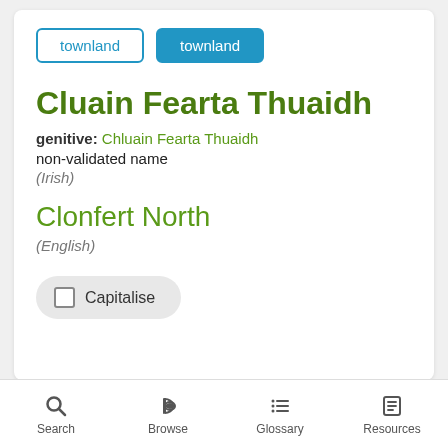townland (outline button)
townland (filled button)
Cluain Fearta Thuaidh
genitive: Chluain Fearta Thuaidh
non-validated name
(Irish)
Clonfert North
(English)
Capitalise
Search   Browse   Glossary   Resources